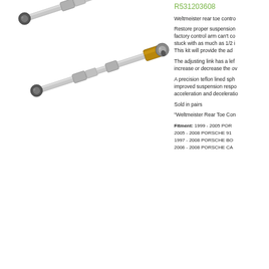[Figure (photo): Two Weltmeister rear toe control arm links with silver rods, adjustable connectors, and brass/gold-colored spherical rod ends]
R531203608
Weltmeister rear toe contro
Restore proper suspension factory control arm can't co stuck with as much as 1/2 i This kit will provide the ad
The adjusting link has a lef increase or decrease the ov
A precision teflon lined sph improved suspension respo acceleration and deceleratio
Sold in pairs
"Weltmeister Rear Toe Con
Fitment: 1999 - 2005 POR 2005 - 2008 PORSCHE 91 1997 - 2008 PORSCHE BO 2006 - 2008 PORSCHE CA